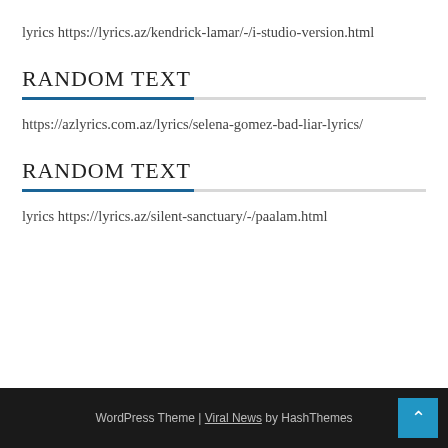lyrics https://lyrics.az/kendrick-lamar/-/i-studio-version.html
RANDOM TEXT
https://azlyrics.com.az/lyrics/selena-gomez-bad-liar-lyrics/
RANDOM TEXT
lyrics https://lyrics.az/silent-sanctuary/-/paalam.html
WordPress Theme | Viral News by HashThemes